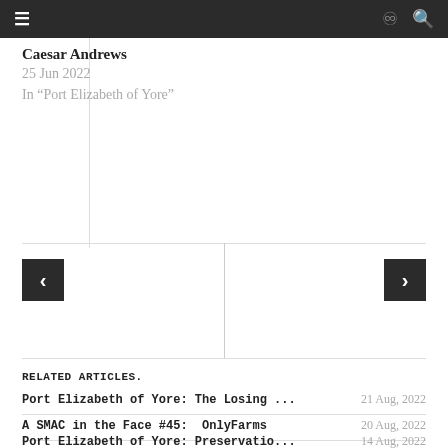≡  ∞  🔍
Caesar Andrews
25 Jun 2022
In "Port Elizabeth of Yore"
RELATED ARTICLES.
Port Elizabeth of Yore: The Losing ...   21 Aug, 2022
A SMAC in the Face #45:  OnlyFarms   20 Aug, 2022
Port Elizabeth of Yore: Preservatio...   14 Aug, 2022